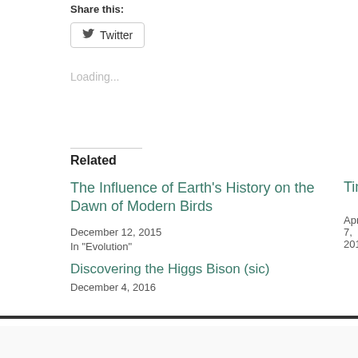Share this:
Twitter
Loading...
Related
The Influence of Earth's History on the Dawn of Modern Birds
December 12, 2015
In "Evolution"
Tiny Spiders Ar…
April 7, 2016
Discovering the Higgs Bison (sic)
December 4, 2016
About Stan Flouride
THIS BLOG IS ALWAYS AD-FREE I make stuff
View all posts by Stan Flouride